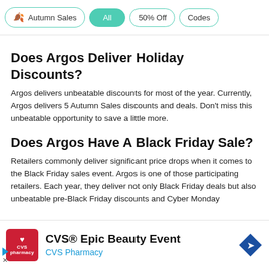Autumn Sales
All
50% Off
Codes
Does Argos Deliver Holiday Discounts?
Argos delivers unbeatable discounts for most of the year. Currently, Argos delivers 5 Autumn Sales discounts and deals. Don't miss this unbeatable opportunity to save a little more.
Does Argos Have A Black Friday Sale?
Retailers commonly deliver significant price drops when it comes to the Black Friday sales event. Argos is one of those participating retailers. Each year, they deliver not only Black Friday deals but also unbeatable pre-Black Friday discounts and Cyber Monday
[Figure (infographic): CVS Pharmacy advertisement banner: CVS logo in red square, 'CVS® Epic Beauty Event' title, 'CVS Pharmacy' subtitle in blue, blue direction arrow icon on the right.]